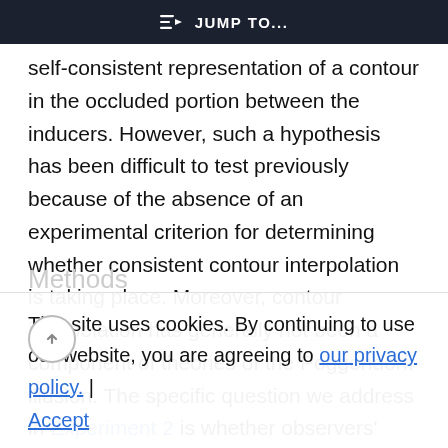≡D JUMP TO...
self-consistent representation of a contour in the occluded portion between the inducers. However, such a hypothesis has been difficult to test previously because of the absence of an experimental criterion for determining whether consistent contour interpolation is taking place. Moreover, contour interpolation has generally not been a component of theories of the Poggendorff illusion. The specific question we address in Experiment 2 is whether observers' interpolation settings of position and orientation in the occluded
This site uses cookies. By continuing to use our website, you are agreeing to our privacy policy.
Accept
Methods